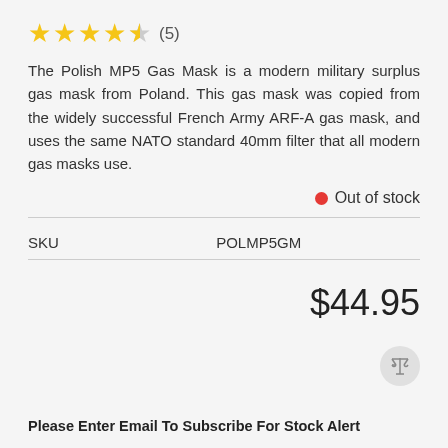[Figure (other): Star rating: 4.5 out of 5 stars (5 reviews)]
The Polish MP5 Gas Mask is a modern military surplus gas mask from Poland. This gas mask was copied from the widely successful French Army ARF-A gas mask, and uses the same NATO standard 40mm filter that all modern gas masks use.
Out of stock
| SKU | POLMP5GM |
| --- | --- |
$44.95
Please Enter Email To Subscribe For Stock Alert